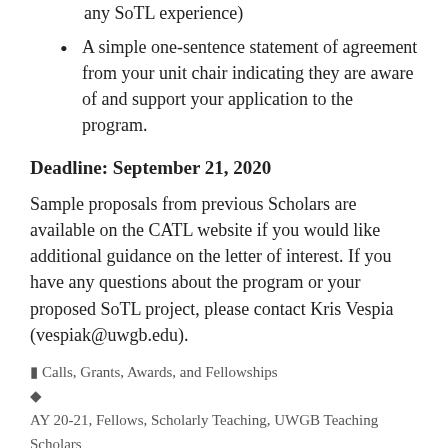emphasis on teaching and any SoTL experience)
A simple one-sentence statement of agreement from your unit chair indicating they are aware of and support your application to the program.
Deadline: September 21, 2020
Sample proposals from previous Scholars are available on the CATL website if you would like additional guidance on the letter of interest. If you have any questions about the program or your proposed SoTL project, please contact Kris Vespia (vespiak@uwgb.edu).
Calls, Grants, Awards, and Fellowships
AY 20-21, Fellows, Scholarly Teaching, UWGB Teaching Scholars